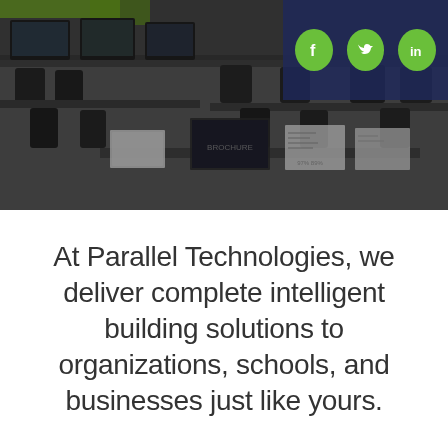[Figure (photo): Darkened grayscale classroom photo showing tables with chairs and documents/brochures spread on a table. In the top-right corner is a dark navy blue panel with three green circular social media icons: Facebook (f), Twitter (bird), and LinkedIn (in).]
At Parallel Technologies, we deliver complete intelligent building solutions to organizations, schools, and businesses just like yours.